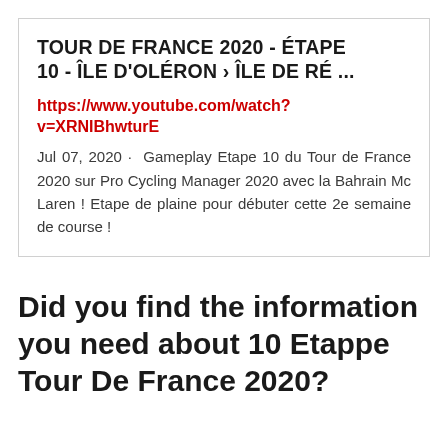TOUR DE FRANCE 2020 - ÉTAPE 10 - ÎLE D'OLÉRON › ÎLE DE RÉ ...
https://www.youtube.com/watch?v=XRNIBhwturE
Jul 07, 2020 · Gameplay Etape 10 du Tour de France 2020 sur Pro Cycling Manager 2020 avec la Bahrain Mc Laren ! Etape de plaine pour débuter cette 2e semaine de course !
Did you find the information you need about 10 Etappe Tour De France 2020?